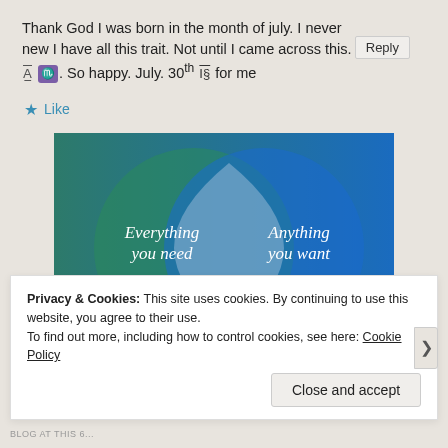Thank God I was born in the month of july. I never new I have all this trait. Not until I came across this. A [scorpio emoji]. So happy. July. 30th IS for me
Reply
★ Like
[Figure (illustration): Venn diagram with two overlapping circles on blue/teal gradient background. Left circle labeled 'Everything you need', right circle labeled 'Anything you want'. Overlap forms a leaf/vesica shape in lighter blue-gray.]
Privacy & Cookies: This site uses cookies. By continuing to use this website, you agree to their use.
To find out more, including how to control cookies, see here: Cookie Policy
Close and accept